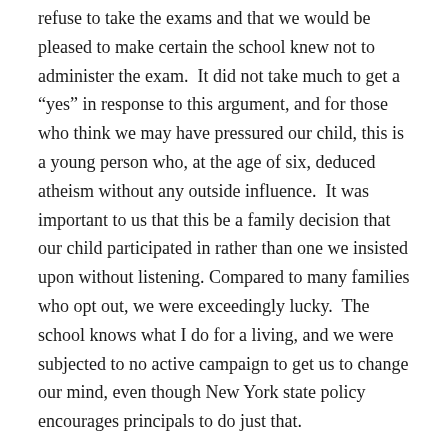refuse to take the exams and that we would be pleased to make certain the school knew not to administer the exam.  It did not take much to get a “yes” in response to this argument, and for those who think we may have pressured our child, this is a young person who, at the age of six, deduced atheism without any outside influence.  It was important to us that this be a family decision that our child participated in rather than one we insisted upon without listening. Compared to many families who opt out, we were exceedingly lucky.  The school knows what I do for a living, and we were subjected to no active campaign to get us to change our mind, even though New York state policy encourages principals to do just that.
On the other hand, our school really has no active opt out presence, and to my knowledge, our children the PTA volunteer in the school.